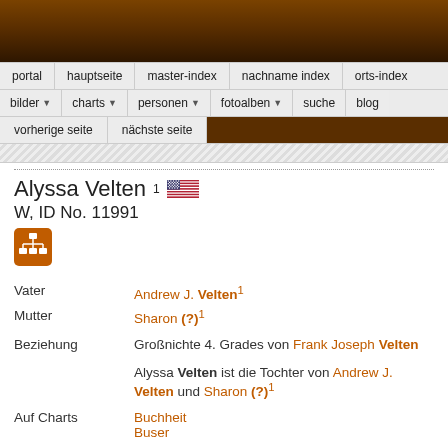[Figure (screenshot): Dark brown decorative header banner]
portal | hauptseite | master-index | nachname index | orts-index | bilder ▼ | charts ▼ | personen ▼ | fotoalben ▼ | suche | blog | vorherige seite | nächste seite
Alyssa Velten¹ W, ID No. 11991
Vater: Andrew J. Velten¹
Mutter: Sharon (?)¹
Beziehung: Großnichte 4. Grades von Frank Joseph Velten
Alyssa Velten ist die Tochter von Andrew J. Velten und Sharon (?)¹
Auf Charts: Buchheit Buser
[Figure (other): Orange chart/family tree icon button]